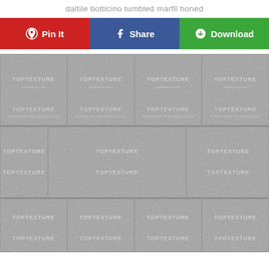daltile botticino tumbled marfil honed
[Figure (other): Three social action buttons: Pin It (red, Pinterest), Share (blue, Facebook), Download (green)]
[Figure (photo): Tiled stone texture showing daltile botticino tumbled marfil honed tiles in a grid pattern with watermark TOPTEXTURE repeated across the image]